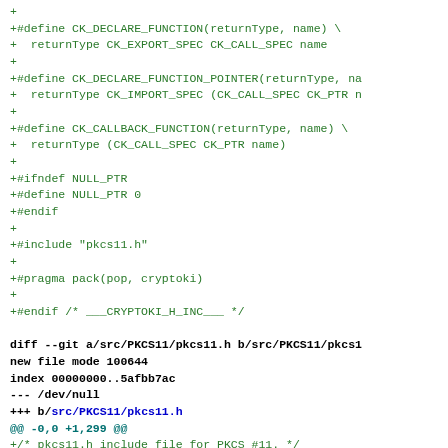Diff output showing additions to cryptoki.h and pkcs11.h header files including CK_DECLARE_FUNCTION, CK_DECLARE_FUNCTION_POINTER, CK_CALLBACK_FUNCTION macros, NULL_PTR definition, includes, pragma pack, and diff header for pkcs11.h new file.